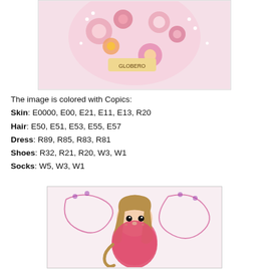[Figure (photo): Photo of a handmade card with pink flowers, pearls, and a heart shape with 'Globero' text stamp]
The image is colored with Copics:
Skin: E0000, E00, E21, E11, E13, R20
Hair: E50, E51, E53, E55, E57
Dress: R89, R85, R83, R81
Shoes: R32, R21, R20, W3, W1
Socks: W5, W3, W1
[Figure (photo): Close-up photo of a Copic-colored stamp image of a little girl in a pink dress with long hair and decorative background swirls]